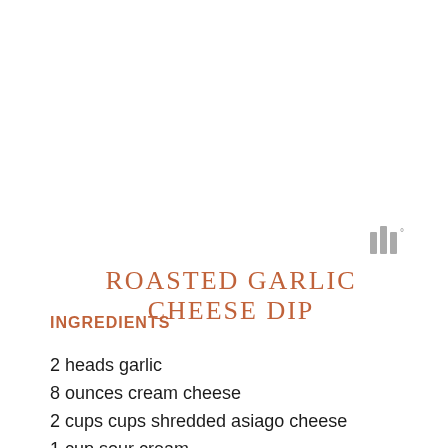[Figure (logo): Small gray logo resembling stacked bars with a degree symbol, positioned top right]
ROASTED GARLIC CHEESE DIP
INGREDIENTS
2 heads garlic
8 ounces cream cheese
2 cups cups shredded asiago cheese
1 cup sour cream